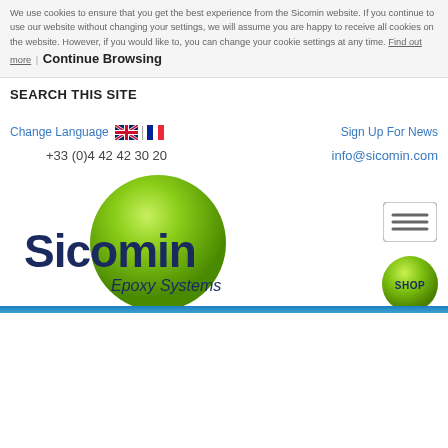We use cookies to ensure that you get the best experience from the Sicomin website. If you continue to use our website without changing your settings, we will assume you are happy to receive all cookies on the website. However, if you would like to, you can change your cookie settings at any time. Find out more | Continue Browsing
SEARCH THIS SITE
Change Language
Sign Up For News
+33 (0)4 42 42 30 20
info@sicomin.com
[Figure (logo): Sicomin Epoxy Systems logo with green sphere and dark blue text]
[Figure (other): Hamburger menu button (three horizontal lines)]
[Figure (other): Green circular SHOP button]